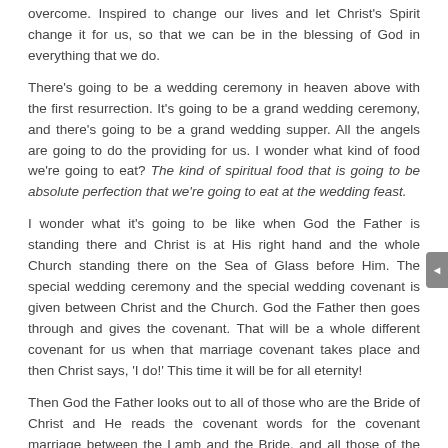overcome. Inspired to change our lives and let Christ's Spirit change it for us, so that we can be in the blessing of God in everything that we do.
There's going to be a wedding ceremony in heaven above with the first resurrection. It's going to be a grand wedding ceremony, and there's going to be a grand wedding supper. All the angels are going to do the providing for us. I wonder what kind of food we're going to eat? The kind of spiritual food that is going to be absolute perfection that we're going to eat at the wedding feast.
I wonder what it's going to be like when God the Father is standing there and Christ is at His right hand and the whole Church standing there on the Sea of Glass before Him. The special wedding ceremony and the special wedding covenant is given between Christ and the Church. God the Father then goes through and gives the covenant. That will be a whole different covenant for us when that marriage covenant takes place and then Christ says, 'I do!' This time it will be for all eternity!
Then God the Father looks out to all of those who are the Bride of Christ and He reads the covenant words for the covenant marriage between the Lamb and the Bride, and all those of the Bride say, 'I do!' That's going to be some ceremony!
Revelation 19:1: "And after these things I heard the loud voice of a